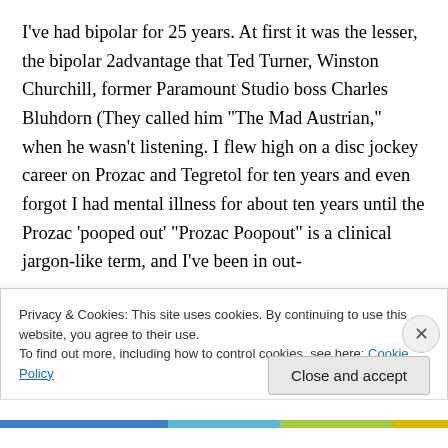I've had bipolar for 25 years. At first it was the lesser, the bipolar 2advantage that Ted Turner, Winston Churchill, former Paramount Studio boss Charles Bluhdorn (They called him “The Mad Austrian,” when he wasn’t listening. I flew high on a disc jockey career on Prozac and Tegretol for ten years and even forgot I had mental illness for about ten years until the Prozac ‘pooped out’ “Prozac Poopout” is a clinical jargon-like term, and I’ve been in out-
Privacy & Cookies: This site uses cookies. By continuing to use this website, you agree to their use.
To find out more, including how to control cookies, see here: Cookie Policy